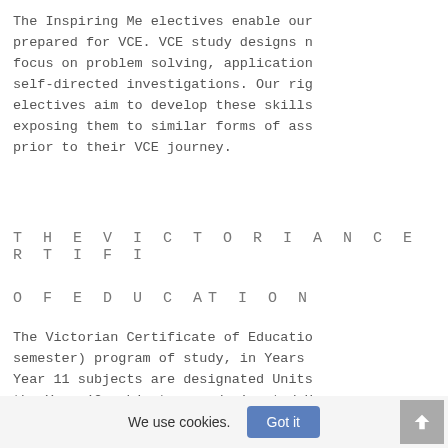The Inspiring Me electives enable our prepared for VCE. VCE study designs n focus on problem solving, application self-directed investigations. Our rig electives aim to develop these skills exposing them to similar forms of ass prior to their VCE journey.
T H E V I C T O R I A N C E R T I F I
O F E D U C AT I O N
The Victorian Certificate of Educatio semester) program of study, in Years Year 11 subjects are designated Units the Year 12 subjects are designated U
We use cookies.
Got it